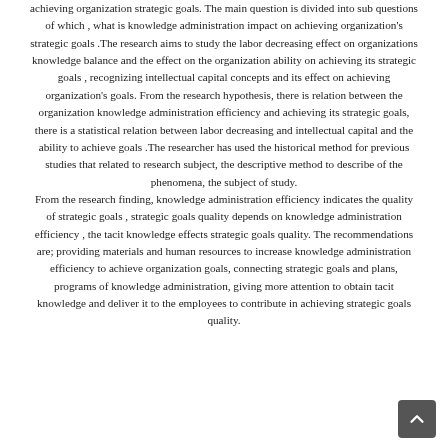achieving organization strategic goals. The main question is divided into sub questions of which , what is knowledge administration impact on achieving organization's strategic goals .The research aims to study the labor decreasing effect on organizations knowledge balance and the effect on the organization ability on achieving its strategic goals , recognizing intellectual capital concepts and its effect on achieving organization's goals. From the research hypothesis, there is relation between the organization knowledge administration efficiency and achieving its strategic goals, there is a statistical relation between labor decreasing and intellectual capital and the ability to achieve goals .The researcher has used the historical method for previous studies that related to research subject, the descriptive method to describe of the phenomena, the subject of study. From the research finding, knowledge administration efficiency indicates the quality of strategic goals , strategic goals quality depends on knowledge administration efficiency , the tacit knowledge effects strategic goals quality. The recommendations are; providing materials and human resources to increase knowledge administration efficiency to achieve organization goals, connecting strategic goals and plans, programs of knowledge administration, giving more attention to obtain tacit knowledge and deliver it to the employees to contribute in achieving strategic goals quality.